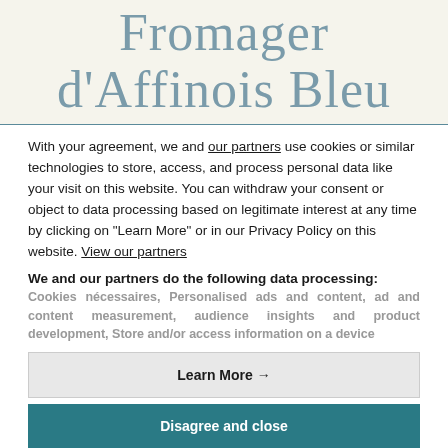Fromager d'Affinois Bleu
With your agreement, we and our partners use cookies or similar technologies to store, access, and process personal data like your visit on this website. You can withdraw your consent or object to data processing based on legitimate interest at any time by clicking on "Learn More" or in our Privacy Policy on this website. View our partners
We and our partners do the following data processing:
Cookies nécessaires, Personalised ads and content, ad and content measurement, audience insights and product development, Store and/or access information on a device
Learn More →
Disagree and close
Agree and close
Consent choices